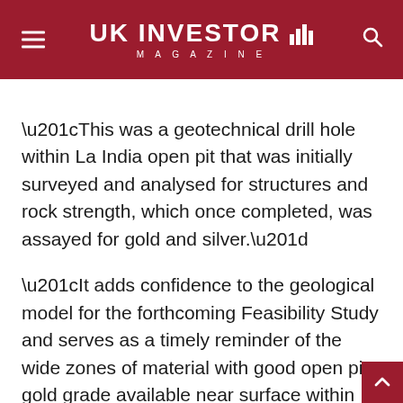UK INVESTOR MAGAZINE
“This was a geotechnical drill hole within La India open pit that was initially surveyed and analysed for structures and rock strength, which once completed, was assayed for gold and silver.”
“It adds confidence to the geological model for the forthcoming Feasibility Study and serves as a timely reminder of the wide zones of material with good open pit gold grade available near surface within the fully permitted La India Project.”